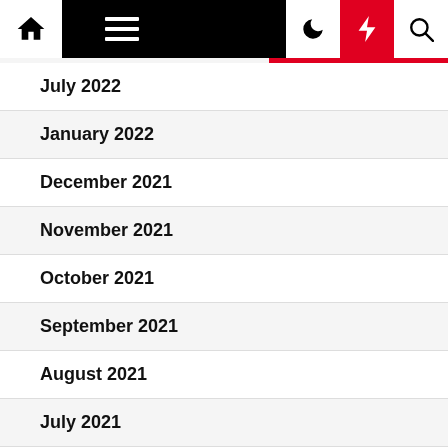Navigation bar with home, menu, dark mode, lightning, and search icons
July 2022
January 2022
December 2021
November 2021
October 2021
September 2021
August 2021
July 2021
June 2021